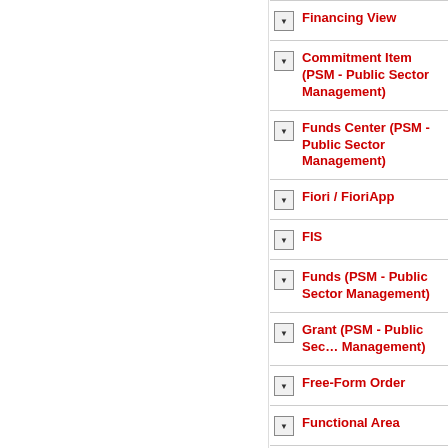Financing View
Commitment Item (PSM - Public Sector Management)
Funds Center (PSM - Public Sector Management)
Fiori / FioriApp
FIS
Funds (PSM - Public Sector Management)
Grant (PSM - Public Sector Management)
Free-Form Order
Functional Area
Gateway
Joint Appointments
Operating Division